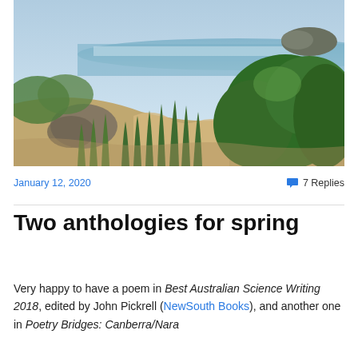[Figure (photo): Coastal dune landscape with sandy path, green shrubs and grasses in foreground, ocean and rocky headland visible in background under blue sky]
January 12, 2020
💬 7 Replies
Two anthologies for spring
Very happy to have a poem in Best Australian Science Writing 2018, edited by John Pickrell (NewSouth Books), and another one in Poetry Bridges: Canberra/Nara